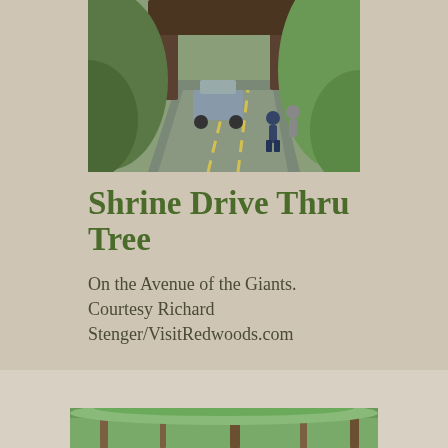[Figure (photo): Photo of a road passing through a large redwood tree with a car driving through and two people crouching on the road nearby, surrounded by lush green forest.]
Shrine Drive Thru Tree
On the Avenue of the Giants. Courtesy Richard Stenger/VisitRedwoods.com
[Figure (photo): Partial photo at bottom of page showing green forest/redwood trees.]